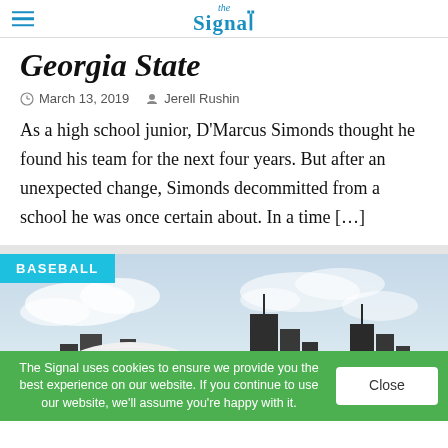the Signal
Georgia State
March 13, 2019   Jerell Rushin
As a high school junior, D’Marcus Simonds thought he found his team for the next four years. But after an unexpected change, Simonds decommitted from a school he was once certain about. In a time […]
[Figure (photo): Photo of a baseball helmet in front of the Atlanta skyline with clouds in the background. A teal BASEBALL category tag overlays the top-left corner.]
The Signal uses cookies to ensure we provide you the best experience on our website. If you continue to use our website, we’ll assume you’re happy with it.